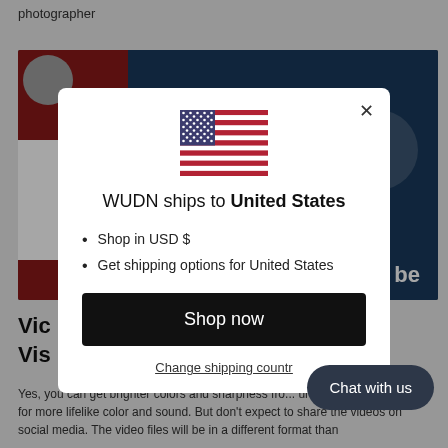photographer
[Figure (screenshot): Background webpage with a video thumbnail showing a person and YouTube-style content]
[Figure (screenshot): Modal dialog overlay: US flag, 'WUDN ships to United States', bullet list, Shop now button, Change shipping country link]
WUDN ships to United States
Shop in USD $
Get shipping options for United States
Shop now
Change shipping country
Chat with us
Vic
Vis
Yes, you can get brighter colors and sharpness fro... ure seen on many TVs for more lifelike color and sound. But don't expect to share the videos on social media. The video files will be in a different format than